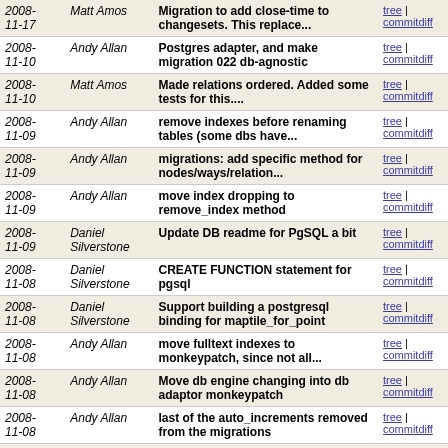| Date | Author | Message | Links |
| --- | --- | --- | --- |
| 2008-11-17 | Matt Amos | Migration to add close-time to changesets. This replace... | tree | commitdiff |
| 2008-11-10 | Andy Allan | Postgres adapter, and make migration 022 db-agnostic | tree | commitdiff |
| 2008-11-10 | Matt Amos | Made relations ordered. Added some tests for this.... | tree | commitdiff |
| 2008-11-09 | Andy Allan | remove indexes before renaming tables (some dbs have... | tree | commitdiff |
| 2008-11-09 | Andy Allan | migrations: add specific method for nodes/ways/relation... | tree | commitdiff |
| 2008-11-09 | Andy Allan | move index dropping to remove_index method | tree | commitdiff |
| 2008-11-09 | Daniel Silverstone | Update DB readme for PgSQL a bit | tree | commitdiff |
| 2008-11-08 | Daniel Silverstone | CREATE FUNCTION statement for pgsql | tree | commitdiff |
| 2008-11-08 | Daniel Silverstone | Support building a postgresql binding for maptile_for_point | tree | commitdiff |
| 2008-11-08 | Andy Allan | move fulltext indexes to monkeypatch, since not all... | tree | commitdiff |
| 2008-11-08 | Andy Allan | Move db engine changing into db adaptor monkeypatch | tree | commitdiff |
| 2008-11-08 | Andy Allan | last of the auto_increments removed from the migrations | tree | commitdiff |
| 2008-11-08 | Andy Allan | Fixing boo-boo in r11802 - but you can assign integers... | tree | commitdiff |